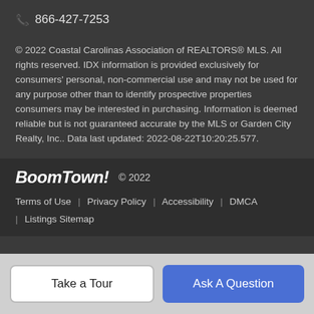📞 866-427-7253
© 2022 Coastal Carolinas Association of REALTORS® MLS. All rights reserved. IDX information is provided exclusively for consumers' personal, non-commercial use and may not be used for any purpose other than to identify prospective properties consumers may be interested in purchasing. Information is deemed reliable but is not guaranteed accurate by the MLS or Garden City Realty, Inc.. Data last updated: 2022-08-22T10:20:25.577.
BoomTown! © 2022 | Terms of Use | Privacy Policy | Accessibility | DMCA | Listings Sitemap
Take a Tour
Ask A Question